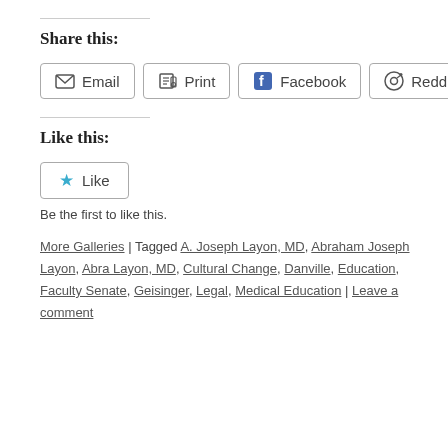Share this:
Email | Print | Facebook | Reddit | Twitter | [Tumblr partial]
Like this:
Like
Be the first to like this.
More Galleries | Tagged A. Joseph Layon, MD, Abraham Joseph Layon, Abra Layon, MD, Cultural Change, Danville, Education, Faculty Senate, Geisinger, Legal, Medical Education | Leave a comment